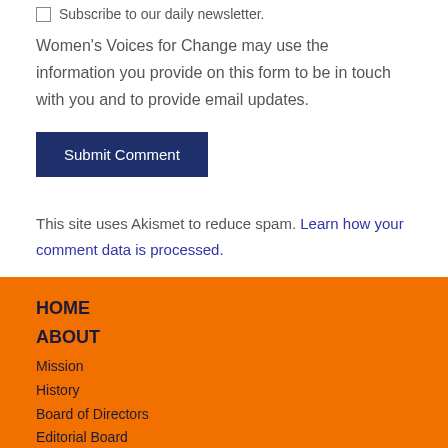Subscribe to our daily newsletter.
Women's Voices for Change may use the information you provide on this form to be in touch with you and to provide email updates.
Submit Comment
This site uses Akismet to reduce spam. Learn how your comment data is processed.
HOME
ABOUT
Mission
History
Board of Directors
Editorial Board
Medical Advisory Board